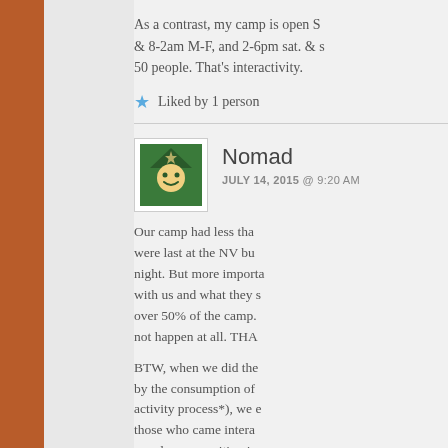As a contrast, my camp is open S & 8-2am M-F, and 2-6pm sat. & s 50 people. That's interactivity.
Liked by 1 person
Nomad
JULY 14, 2015 @ 9:20 AM
[Figure (illustration): Green avatar icon with a cartoon character wearing a hat]
Our camp had less tha were last at the NV bu night. But more importa with us and what they s over 50% of the camp. not happen at all. THA
BTW, when we did the by the consumption of activity process*), we e those who came intera people were waiting in